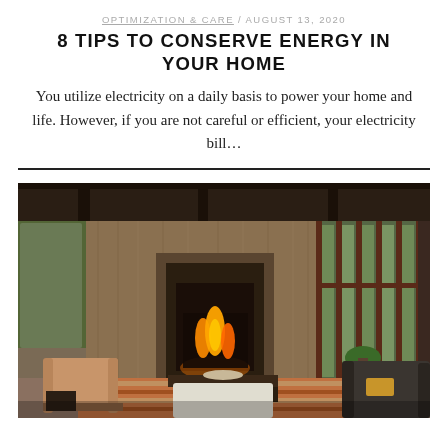OPTIMIZATION & CARE / AUGUST 13, 2020
8 TIPS TO CONSERVE ENERGY IN YOUR HOME
You utilize electricity on a daily basis to power your home and life. However, if you are not careful or efficient, your electricity bill…
[Figure (photo): Interior photo of a modern living room with fireplace, large windows with garden view, warm lighting, couches and armchairs on a striped rug]